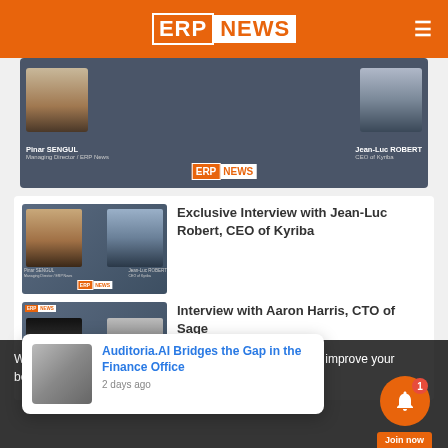ERP NEWS
[Figure (screenshot): ERP News video banner showing Pinar SENGUL (Managing Director / ERP News) and Jean-Luc ROBERT (CEO of Kyriba) with ERP News logo]
Pinar SENGUL
Managing Director / ERP News
Jean-Luc ROBERT
CEO of Kyriba
[Figure (photo): Thumbnail for Exclusive Interview with Jean-Luc Robert, CEO of Kyriba, showing two people with ERP News branding]
Exclusive Interview with Jean-Luc Robert, CEO of Kyriba
[Figure (photo): Thumbnail for Interview with Aaron Harris, CTO of Sage, showing two people in a video call format]
Interview with Aaron Harris, CTO of Sage
We anonymously measure your use of this website to improve your best experience on
Auditoria.AI Bridges the Gap in the Finance Office
2 days ago